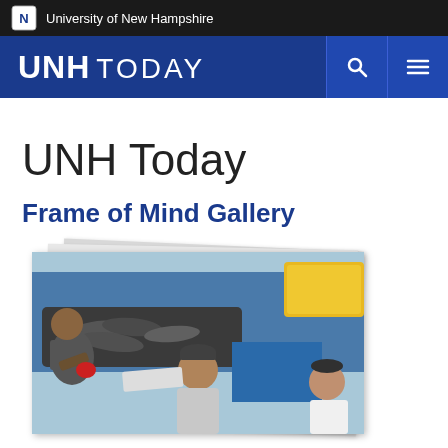University of New Hampshire
UNH TODAY
UNH Today
Frame of Mind Gallery
[Figure (photo): Workers handling fish on a boat, one man in a backwards cap in the center, others around him with a yellow container visible in the upper right]